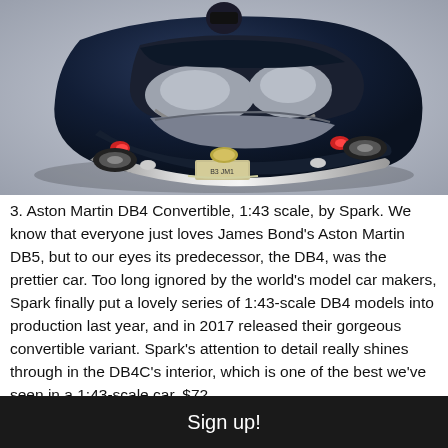[Figure (photo): Overhead rear three-quarter view of a dark navy blue Aston Martin DB4 Convertible scale model (1:43 scale by Spark), showing the open top interior with grey seats, chrome bumper, and rear license plate detail, on a light grey background.]
3. Aston Martin DB4 Convertible, 1:43 scale, by Spark. We know that everyone just loves James Bond's Aston Martin DB5, but to our eyes its predecessor, the DB4, was the prettier car. Too long ignored by the world's model car makers, Spark finally put a lovely series of 1:43-scale DB4 models into production last year, and in 2017 released their gorgeous convertible variant. Spark's attention to detail really shines through in the DB4C's interior, which is one of the best we've seen in a 1:43-scale car. $72.
Sign up!